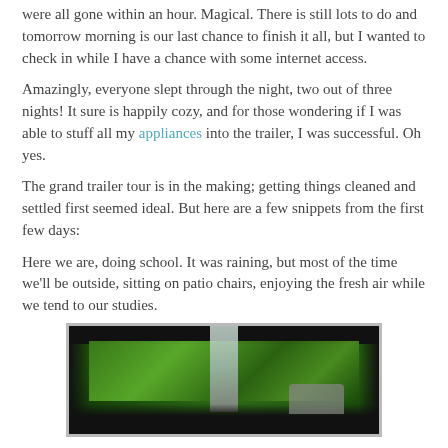were all gone within an hour.  Magical.  There is still lots to do and tomorrow morning is our last chance to finish it all, but I wanted to check in while I have a chance with some internet access.
Amazingly, everyone slept through the night, two out of three nights!  It sure is happily cozy, and for those wondering if I was able to stuff all my appliances into the trailer, I was successful.  Oh yes.
The grand trailer tour is in the making; getting things cleaned and settled first seemed ideal.  But here are a few snippets from the first few days:
Here we are, doing school.  It was raining, but most of the time we'll be outside, sitting on patio chairs, enjoying the fresh air while we tend to our studies.
[Figure (photo): View from inside a trailer or camper looking outside through a window or opening, showing lush green trees and foliage. Dark framing visible around the edges. A chair or seat visible in the lower right.]